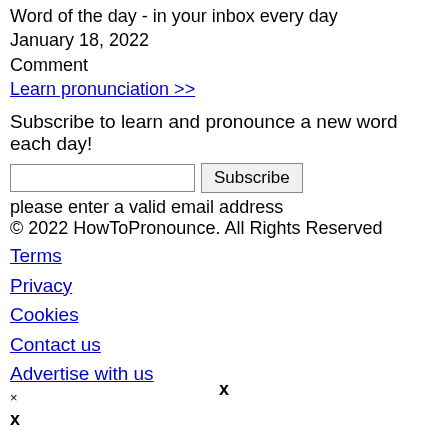Word of the day - in your inbox every day
January 18, 2022
Comment
Learn pronunciation >>
Subscribe to learn and pronounce a new word each day!
please enter a valid email address
© 2022 HowToPronounce. All Rights Reserved
Terms
Privacy
Cookies
Contact us
Advertise with us
×
x
x